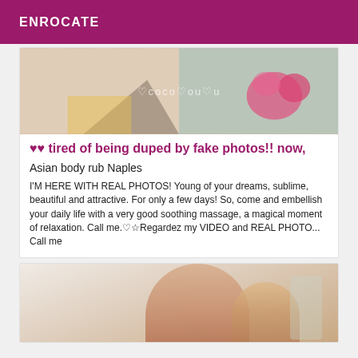ENROCATE
[Figure (photo): Partial photo of legs with colorful geometric background and pink flower accessory, with semi-transparent watermark text overlay]
♥♥ tired of being duped by fake photos!! now,
Asian body rub Naples
I'M HERE WITH REAL PHOTOS! Young of your dreams, sublime, beautiful and attractive. For only a few days! So, come and embellish your daily life with a very good soothing massage, a magical moment of relaxation. Call me.♡☆Regardez my VIDEO and REAL PHOTO... Call me
[Figure (photo): Partial photo of a person's legs/arm in a light setting]